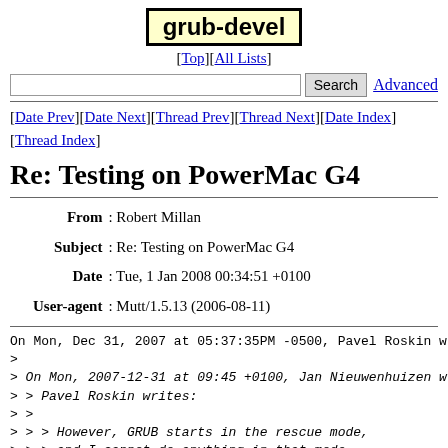grub-devel
[Top][All Lists]
Search  Advanced
[Date Prev][Date Next][Thread Prev][Thread Next][Date Index][Thread Index]
Re: Testing on PowerMac G4
| Field | Value |
| --- | --- |
| From | Robert Millan |
| Subject | Re: Testing on PowerMac G4 |
| Date | Tue, 1 Jan 2008 00:34:51 +0100 |
| User-agent | Mutt/1.5.13 (2006-08-11) |
On Mon, Dec 31, 2007 at 05:37:35PM -0500, Pavel Roskin wr
>
> On Mon, 2007-12-31 at 09:45 +0100, Jan Nieuwenhuizen wr
> > Pavel Roskin writes:
> >
> > > However, GRUB starts in the rescue mode,
> > > and I cannot do anything in that mode.
> >
> > In rescue mode, tune...